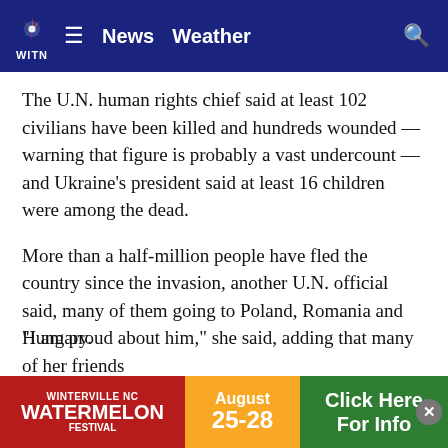WITN News Weather
The U.N. human rights chief said at least 102 civilians have been killed and hundreds wounded — warning that figure is probably a vast undercount — and Ukraine's president said at least 16 children were among the dead.
More than a half-million people have fled the country since the invasion, another U.N. official said, many of them going to Poland, Romania and Hungary.
Among the refugees in Hungary was Maria Pavlushko, 24, an information technology project manager from a city west of Kyiv. She said her father stayed behind to fight the Russians.
“I am proud about him,” she said, adding that many of her friends
[Figure (advertisement): Watermelon Festival advertisement: August 25-28, Click Here For Info]